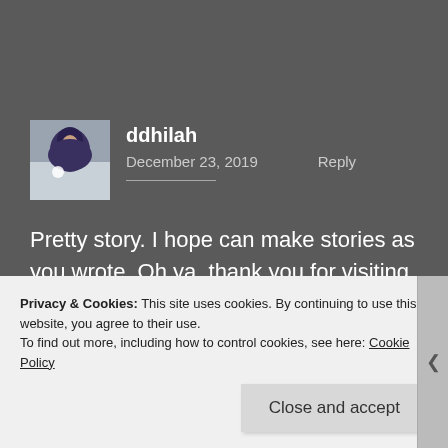[Figure (photo): Avatar photo of user ddhilah — a person wearing a dark hijab against a light background]
ddhilah
December 23, 2019    Reply
Pretty story. I hope can make stories as you wrote. Oh ya, thank you for visiting my blog.
Privacy & Cookies: This site uses cookies. By continuing to use this website, you agree to their use.
To find out more, including how to control cookies, see here: Cookie Policy
Close and accept